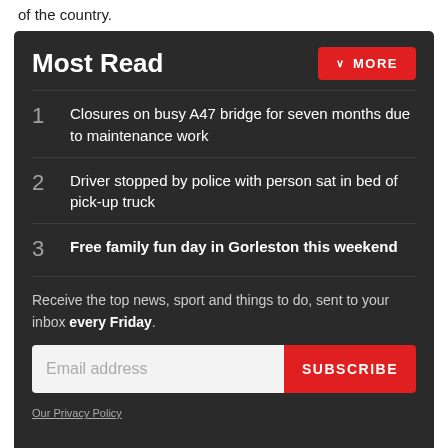of the country.
Most Read
1 Closures on busy A47 bridge for seven months due to maintenance work
2 Driver stopped by police with person sat in bed of pick-up truck
3 Free family fun day in Gorleston this weekend
Receive the top news, sport and things to do, sent to your inbox every Friday.
Our Privacy Policy